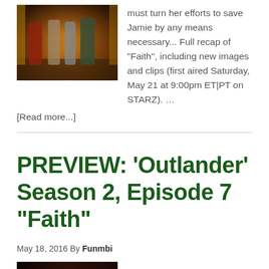[Figure (photo): Scene from Outlander showing several characters in period costume standing in an ornate room with golden lighting]
must turn her efforts to save Jamie by any means necessary... Full recap of "Faith", including new images and clips (first aired Saturday, May 21 at 9:00pm ET|PT on STARZ). …
[Read more...]
PREVIEW: ‘Outlander’ Season 2, Episode 7 “Faith”
May 18, 2016 By Funmbi
[Figure (photo): Partial bottom image from Outlander, dark scene]